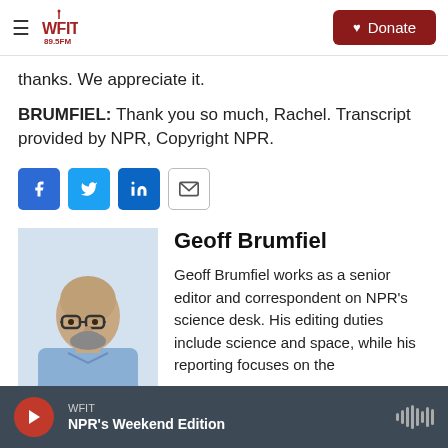WFIT 89.5FM | Donate
thanks. We appreciate it.
BRUMFIEL: Thank you so much, Rachel. Transcript provided by NPR, Copyright NPR.
[Figure (infographic): Social sharing icons: Facebook, Twitter, LinkedIn, Email]
[Figure (photo): Headshot of Geoff Brumfiel, a bald man with glasses and a beard, wearing a light blue shirt]
Geoff Brumfiel
Geoff Brumfiel works as a senior editor and correspondent on NPR's science desk. His editing duties include science and space, while his reporting focuses on the
WFIT | NPR's Weekend Edition